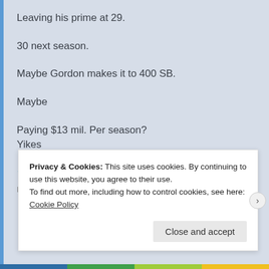Leaving his prime at 29.
30 next season.
Maybe Gordon makes it to 400 SB.
Maybe
Paying $13 mil. Per season?
Yikes
★ Like
REPLY
Privacy & Cookies: This site uses cookies. By continuing to use this website, you agree to their use.
To find out more, including how to control cookies, see here: Cookie Policy
Close and accept